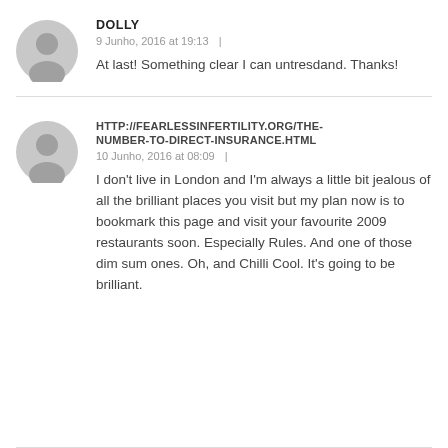DOLLY
9 Junho, 2016 at 19:13  |
At last! Something clear I can untresdand. Thanks!
HTTP://FEARLESSINFERTILITY.ORG/THE-NUMBER-TO-DIRECT-INSURANCE.HTML
10 Junho, 2016 at 08:09  |
I don't live in London and I'm always a little bit jealous of all the brilliant places you visit but my plan now is to bookmark this page and visit your favourite 2009 restaurants soon. Especially Rules. And one of those dim sum ones. Oh, and Chilli Cool. It's going to be brilliant.